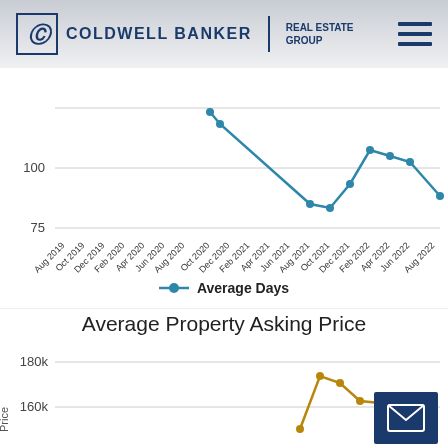[Figure (logo): Coldwell Banker Real Estate Group logo with hamburger menu icon]
[Figure (line-chart): Average Days on Market (partial/cropped)]
Average Days
Average Property Asking Price
[Figure (line-chart): Average Property Asking Price]